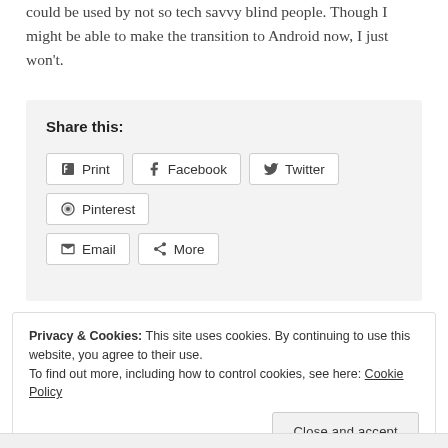could be used by not so tech savvy blind people. Though I might be able to make the transition to Android now, I just won't.
Share this:
Print
Facebook
Twitter
Pinterest
Email
More
Privacy & Cookies: This site uses cookies. By continuing to use this website, you agree to their use.
To find out more, including how to control cookies, see here: Cookie Policy
Close and accept